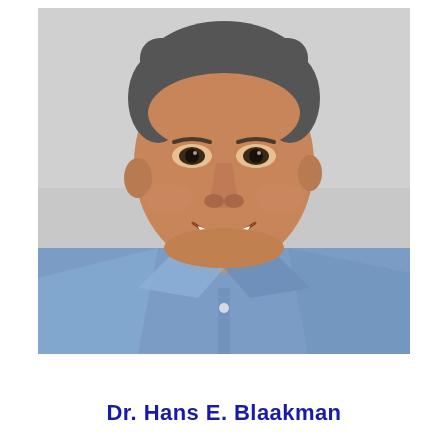[Figure (photo): Professional headshot of a middle-aged man with short salt-and-pepper hair, smiling broadly, wearing a blue collared shirt, against a light gray background]
Dr. Hans E. Blaakman